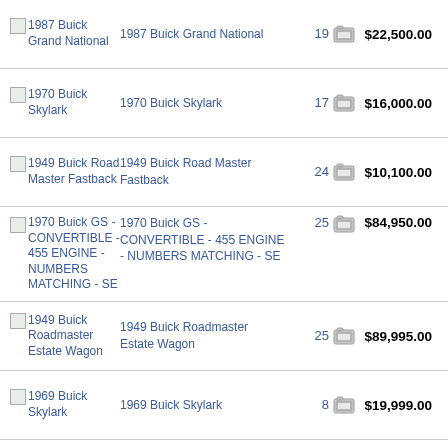1987 Buick Grand National | 1987 Buick Grand National | 19 | $22,500.00
1970 Buick Skylark | 1970 Buick Skylark | 17 | $16,000.00
1949 Buick Road Master Fastback | 1949 Buick Road Master Fastback | 24 | $10,100.00
1970 Buick GS - CONVERTIBLE - 455 ENGINE - NUMBERS MATCHING - SE | 1970 Buick GS - CONVERTIBLE - 455 ENGINE - NUMBERS MATCHING - SE | 25 | $84,950.00
1949 Buick Roadmaster Estate Wagon | 1949 Buick Roadmaster Estate Wagon | 25 | $89,995.00
1969 Buick Skylark | 1969 Buick Skylark | 8 | $19,999.00
1970 Buick Skylark Convertible | 1970 Buick Skylark Convertible | 1 | $11,200.00